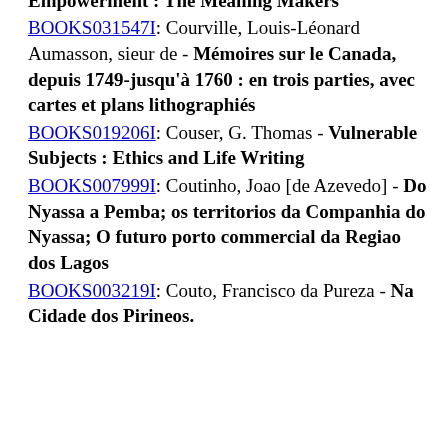BOOKS022542I: Courts, Patrick L. - Literacy and Empowerment : The Meaning Makers
BOOKS031547I: Courville, Louis-Léonard Aumasson, sieur de - Mémoires sur le Canada, depuis 1749-jusqu'à 1760 : en trois parties, avec cartes et plans lithographiés
BOOKS019206I: Couser, G. Thomas - Vulnerable Subjects : Ethics and Life Writing
BOOKS007999I: Coutinho, Joao [de Azevedo] - Do Nyassa a Pemba; os territorios da Companhia do Nyassa; O futuro porto commercial da Regiao dos Lagos
BOOKS003219I: Couto, Francisco da Pureza - Na Cidade dos Pirineos.